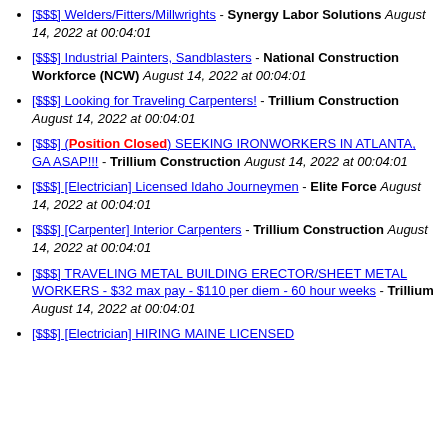[$$$] Welders/Fitters/Millwrights - Synergy Labor Solutions August 14, 2022 at 00:04:01
[$$$] Industrial Painters, Sandblasters - National Construction Workforce (NCW) August 14, 2022 at 00:04:01
[$$$] Looking for Traveling Carpenters! - Trillium Construction August 14, 2022 at 00:04:01
[$$$] (Position Closed) SEEKING IRONWORKERS IN ATLANTA, GA ASAP!!! - Trillium Construction August 14, 2022 at 00:04:01
[$$$] [Electrician] Licensed Idaho Journeymen - Elite Force August 14, 2022 at 00:04:01
[$$$] [Carpenter] Interior Carpenters - Trillium Construction August 14, 2022 at 00:04:01
[$$$] TRAVELING METAL BUILDING ERECTOR/SHEET METAL WORKERS - $32 max pay - $110 per diem - 60 hour weeks - Trillium August 14, 2022 at 00:04:01
[$$$] [Electrician] HIRING MAINE LICENSED